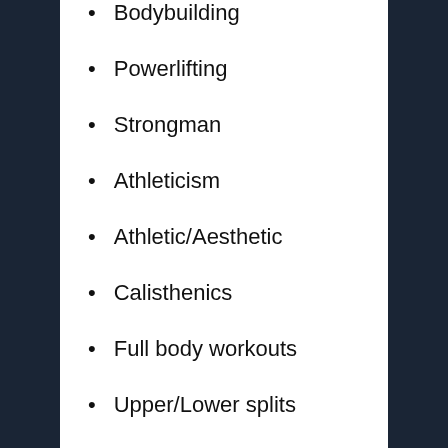Bodybuilding
Powerlifting
Strongman
Athleticism
Athletic/Aesthetic
Calisthenics
Full body workouts
Upper/Lower splits
Push/Pull splits
Home workouts
Golden Era Strength Programs
An Illustrated Cookbook